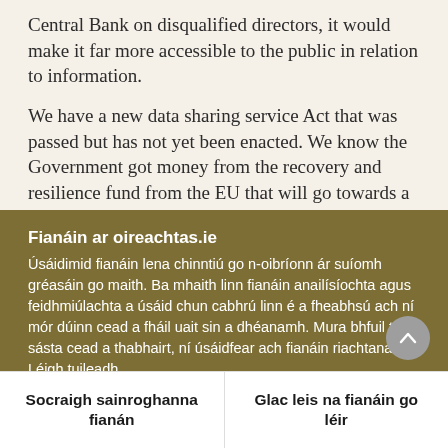Central Bank on disqualified directors, it would make it far more accessible to the public in relation to information.
We have a new data sharing service Act that was passed but has not yet been enacted. We know the Government got money from the recovery and resilience fund from the EU that will go towards a shared government data service centre. Many
Fianáin ar oireachtas.ie
Úsáidimid fianáin lena chinntiú go n-oibríonn ár suíomh gréasáin go maith. Ba mhaith linn fianáin anailísíochta agus feidhmiúlachta a úsáid chun cabhrú linn é a fheabhsú ach ní mór dúinn cead a fháil uait sin a dhéanamh. Mura bhfuil tú sásta cead a thabhairt, ní úsáidfear ach fianáin riachtanacha. Léigh tuileadh faoinár bhfianáin
Socraigh sainroghanna fianán
Glac leis na fianáin go léir